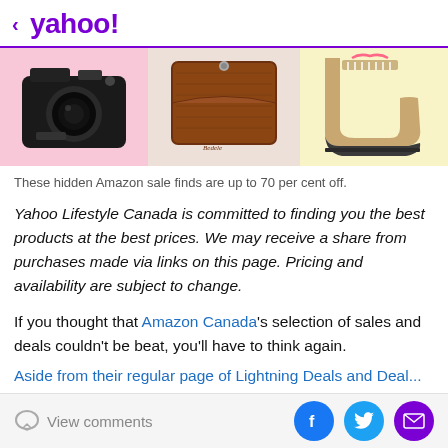< yahoo!
[Figure (photo): Three product images side by side: a black camera on pink background, a brown leather wallet on light background, and a brown/black duck boot on yellow background.]
These hidden Amazon sale finds are up to 70 per cent off.
Yahoo Lifestyle Canada is committed to finding you the best products at the best prices. We may receive a share from purchases made via links on this page. Pricing and availability are subject to change.
If you thought that Amazon Canada's selection of sales and deals couldn't be beat, you'll have to think again.
Aside from their regular page of Lightning Deals and Deal...
View comments